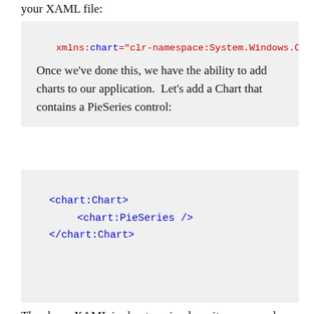your XAML file:
[Figure (screenshot): Code snippet showing xmlns:chart="clr-namespace:System.Windows.C..." in a gray box]
Once we’ve done this, we have the ability to add charts to our application.  Let’s add a Chart that contains a PieSeries control:
[Figure (screenshot): Code snippet showing <chart:Chart> <chart:PieSeries /> </chart:Chart> in a gray box]
The above XAML is about as simple as it comes, and you haven’t really done anything with ANYTHING yet.  In this example, I’m actually going to bind this